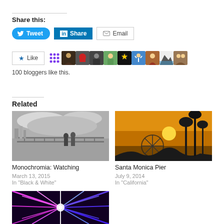Share this:
[Figure (screenshot): Share buttons: Tweet (Twitter), Share (LinkedIn), Email]
[Figure (screenshot): Like button with star icon and 9 avatar thumbnails of bloggers]
100 bloggers like this.
Related
[Figure (photo): Black and white photo of a couple watching from a pier railing with cloudy sky]
Monochromia: Watching
March 13, 2015
In "Black & White"
[Figure (photo): Sunset photo of Santa Monica Pier with palm trees silhouetted against orange sky]
Santa Monica Pier
July 9, 2014
In "California"
[Figure (photo): Colorful light-ray photo at bottom of page, partially visible]